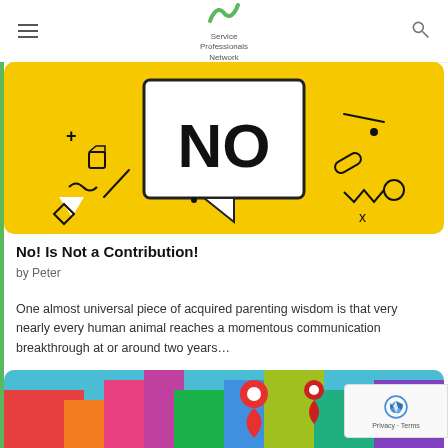Service Professionals Network
[Figure (illustration): Yellow background illustration with a speech bubble saying NO in bold black text, surrounded by geometric doodles and icons]
No! Is Not a Contribution!
by Peter
One almost universal piece of acquired parenting wisdom is that very nearly every human animal reaches a momentous communication breakthrough at or around two years…
[Figure (illustration): Colorful illustration showing a map pin/location marker over a vibrant artistic cityscape background]